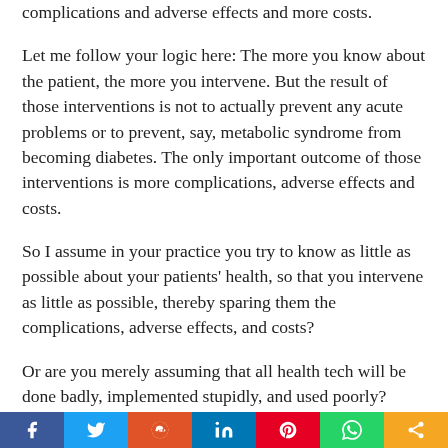complications and adverse effects and more costs.
Let me follow your logic here: The more you know about the patient, the more you intervene. But the result of those interventions is not to actually prevent any acute problems or to prevent, say, metabolic syndrome from becoming diabetes. The only important outcome of those interventions is more complications, adverse effects and costs.
So I assume in your practice you try to know as little as possible about your patients' health, so that you intervene as little as possible, thereby sparing them the complications, adverse effects, and costs?
Or are you merely assuming that all health tech will be done badly, implemented stupidly, and used poorly? Anything can be shown not to work if it is
Facebook Twitter Reddit LinkedIn Pinterest WhatsApp Share